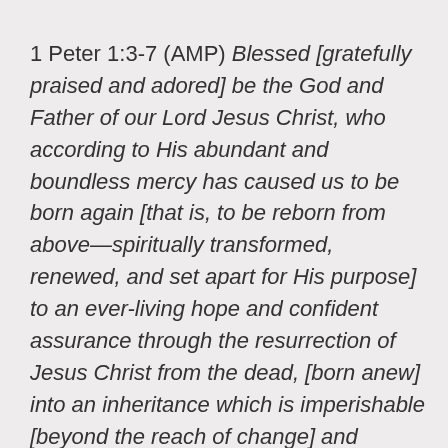1 Peter 1:3-7 (AMP) Blessed [gratefully praised and adored] be the God and Father of our Lord Jesus Christ, who according to His abundant and boundless mercy has caused us to be born again [that is, to be reborn from above—spiritually transformed, renewed, and set apart for His purpose] to an ever-living hope and confident assurance through the resurrection of Jesus Christ from the dead, [born anew] into an inheritance which is imperishable [beyond the reach of change] and undefiled and unfading, reserved in heaven for you, who are being protected and shielded by the power of God through your faith for salvation that is ready to be revealed [for you] in the last time. In this